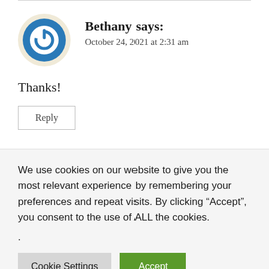[Figure (other): Avatar icon: circular blue power/on button symbol with cream/beige outer ring]
Bethany says:
October 24, 2021 at 2:31 am
Thanks!
Reply
We use cookies on our website to give you the most relevant experience by remembering your preferences and repeat visits. By clicking “Accept”, you consent to the use of ALL the cookies.
.
Cookie Settings
Accept